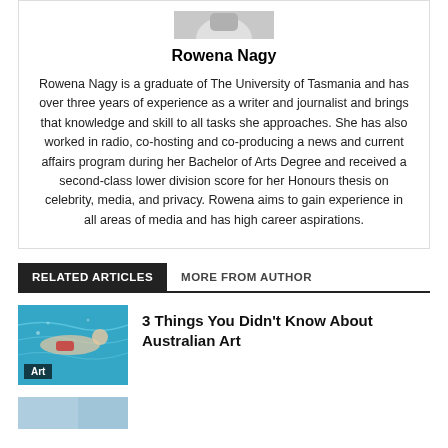[Figure (photo): Partial photo of a person at the top of the bio card]
Rowena Nagy
Rowena Nagy is a graduate of The University of Tasmania and has over three years of experience as a writer and journalist and brings that knowledge and skill to all tasks she approaches. She has also worked in radio, co-hosting and co-producing a news and current affairs program during her Bachelor of Arts Degree and received a second-class lower division score for her Honours thesis on celebrity, media, and privacy. Rowena aims to gain experience in all areas of media and has high career aspirations.
RELATED ARTICLES
MORE FROM AUTHOR
[Figure (photo): Underwater photo of a person swimming, with 'Art' label overlay]
3 Things You Didn't Know About Australian Art